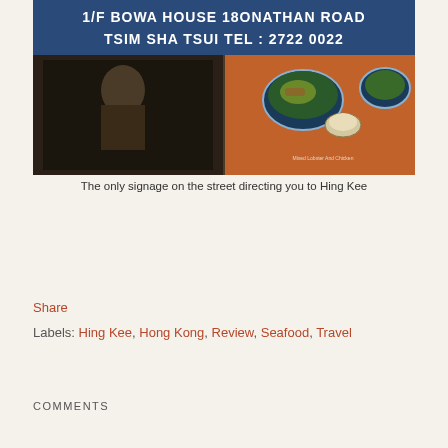[Figure (photo): Restaurant signage poster showing '1/F BOWA HOUSE 18ONATHAN ROAD TSIM SHA TSUI TEL: 2722 0022' with images of food dishes and a chef]
The only signage on the street directing you to Hing Kee
Share
Labels: Hing Kee, Hong Kong, Review, Seafood, Travel
COMMENTS